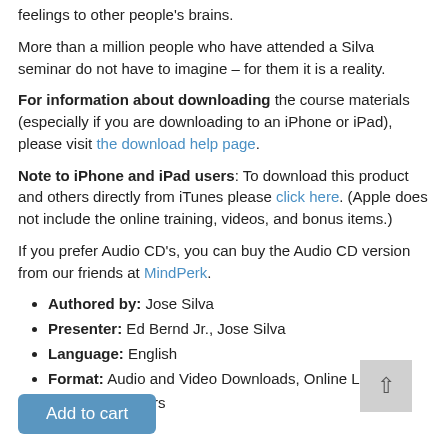feelings to other people's brains.
More than a million people who have attended a Silva seminar do not have to imagine – for them it is a reality.
For information about downloading the course materials (especially if you are downloading to an iPhone or iPad), please visit the download help page.
Note to iPhone and iPad users: To download this product and others directly from iTunes please click here. (Apple does not include the online training, videos, and bonus items.)
If you prefer Audio CD's, you can buy the Audio CD version from our friends at MindPerk.
Authored by: Jose Silva
Presenter: Ed Bernd Jr., Jose Silva
Language: English
Format: Audio and Video Downloads, Online Learning
Length: 17 hours